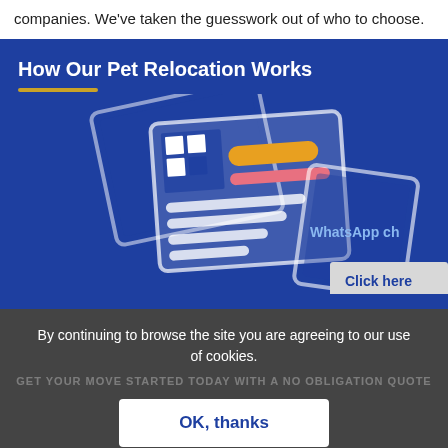companies. We've taken the guesswork out of who to choose.
How Our Pet Relocation Works
[Figure (illustration): Illustration of documents/cards with QR code and colored bars on a blue background, partially showing a WhatsApp chat label and a 'Click here' button on the right edge.]
By continuing to browse the site you are agreeing to our use of cookies.
GET YOUR MOVE STARTED TODAY WITH A NO OBLIGATION QUOTE
OK, thanks